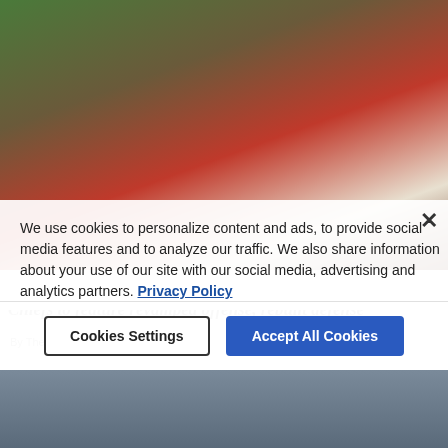[Figure (photo): Kansas City Chiefs player in red jersey signing autographs for fans including children in red Chiefs gear at training camp, aerial/overhead view]
We use cookies to personalize content and ads, to provide social media features and to analyze our traffic. We also share information about your use of our site with our social media, advertising and analytics partners. Privacy Policy
Chiefs to feature revamped offense, rebuilt defense
By The Associated Press 8 hrs ago
Cookies Settings
Accept All Cookies
[Figure (photo): Partial view of another Chiefs-related photo below the cookie consent bar]